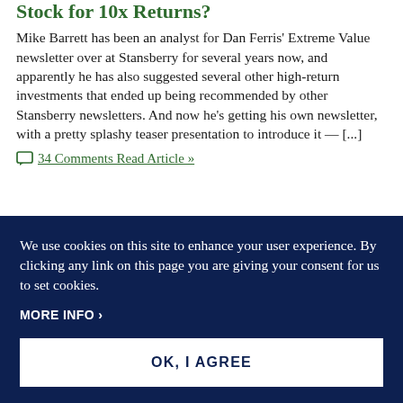Stock for 10x Returns?
Mike Barrett has been an analyst for Dan Ferris' Extreme Value newsletter over at Stansberry for several years now, and apparently he has also suggested several other high-return investments that ended up being recommended by other Stansberry newsletters. And now he's getting his own newsletter, with a pretty splashy teaser presentation to introduce it — [...]
34 Comments Read Article »
We use cookies on this site to enhance your user experience. By clicking any link on this page you are giving your consent for us to set cookies.
MORE INFO ›
OK, I AGREE